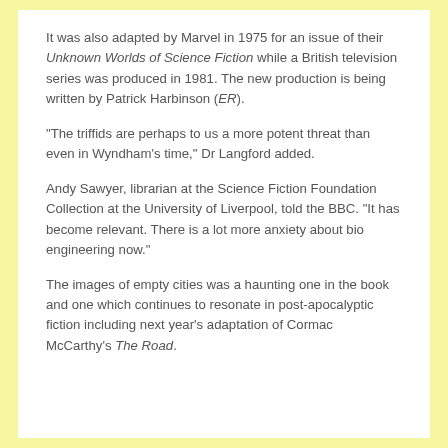It was also adapted by Marvel in 1975 for an issue of their Unknown Worlds of Science Fiction while a British television series was produced in 1981. The new production is being written by Patrick Harbinson (ER).
"The triffids are perhaps to us a more potent threat than even in Wyndham's time," Dr Langford added.
Andy Sawyer, librarian at the Science Fiction Foundation Collection at the University of Liverpool, told the BBC. "It has become relevant. There is a lot more anxiety about bio engineering now."
The images of empty cities was a haunting one in the book and one which continues to resonate in post-apocalyptic fiction including next year's adaptation of Cormac McCarthy's The Road.